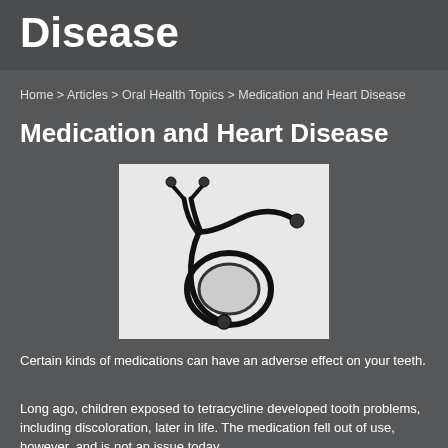Disease
Home > Articles > Oral Health Topics > Medication and Heart Disease
Medication and Heart Disease
[Figure (photo): A stethoscope coiled on a white background]
Certain kinds of medications can have an adverse effect on your teeth.
Long ago, children exposed to tetracycline developed tooth problems, including discoloration, later in life. The medication fell out of use, however, and is not an issue today.